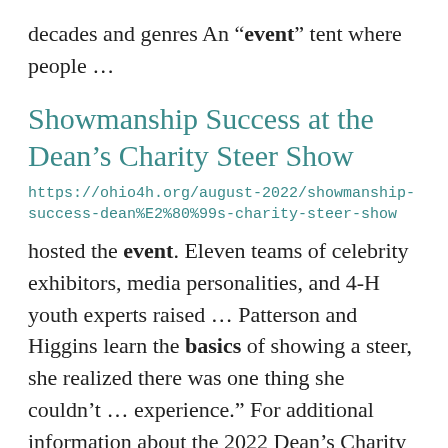decades and genres An “event” tent where people …
Showmanship Success at the Dean’s Charity Steer Show
https://ohio4h.org/august-2022/showmanship-success-dean%E2%80%99s-charity-steer-show
hosted the event. Eleven teams of celebrity exhibitors, media personalities, and 4-H youth experts raised … Patterson and Higgins learn the basics of showing a steer, she realized there was one thing she couldn’t … experience.” For additional information about the 2022 Dean’s Charity Steer Show and photos from the event